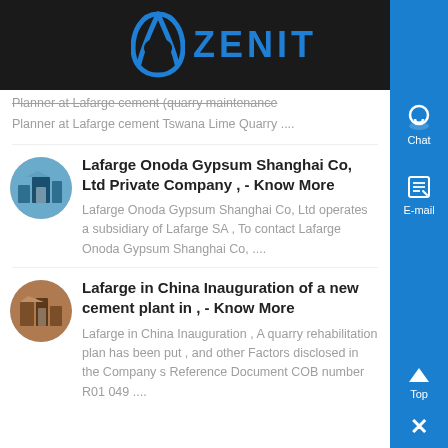ZENIT
Planner at Lafarge cement Tswana Lime Quarry ....
Lafarge Onoda Gypsum Shanghai Co, Ltd Private Company , - Know More
Lafarge Onoda Gypsum Shanghai Co, Ltd operates a subsidiary of Lafarge SA , To contact Lafarge Onoda Gypsum Shanghai Co, ....
Lafarge in China Inauguration of a new cement plant in , - Know More
Lafarge in China Inauguration , A quarry rehabilitation plan has been put , and other Factors disclosed in the Company s Reference Document COB number R01 049 ....